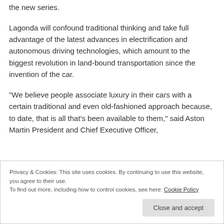the new series.
Lagonda will confound traditional thinking and take full advantage of the latest advances in electrification and autonomous driving technologies, which amount to the biggest revolution in land-bound transportation since the invention of the car.
"We believe people associate luxury in their cars with a certain traditional and even old-fashioned approach because, to date, that is all that's been available to them," said Aston Martin President and Chief Executive Officer,
Privacy & Cookies: This site uses cookies. By continuing to use this website, you agree to their use.
To find out more, including how to control cookies, see here: Cookie Policy